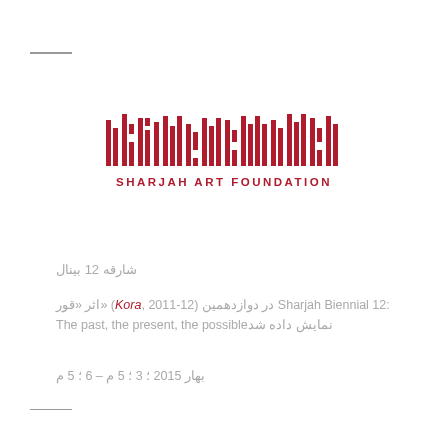[Figure (logo): Sharjah Art Foundation logo with Arabic calligraphy bar-code style mark in red above the English text SHARJAH ART FOUNDATION]
شارقه ١٢ بینال
اثر «قور» (Kora, 2011-12) در دوازدهمین Sharjah Biennial 12: The past, the present, the possible نمایش داده شد
بهار ٢٠١٥ ؛ ٣ ؛ ٥ م – ٦ ؛ ٥ م